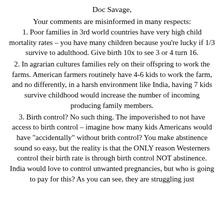Doc Savage,
Your comments are misinformed in many respects:
1. Poor families in 3rd world countries have very high child mortality rates – you have many children because you're lucky if 1/3 survive to adulthood. Give birth 10x to see 3 or 4 turn 16.
2. In agrarian cultures families rely on their offspring to work the farms. American farmers routinely have 4-6 kids to work the farm, and no differently, in a harsh environment like India, having 7 kids survive childhood would increase the number of incoming producing family members.
3. Birth control? No such thing. The impoverished to not have access to birth control – imagine how many kids Americans would have "accidentally" without brith control? You make abstinence sound so easy, but the reality is that the ONLY reason Westerners control their birth rate is through birth control NOT abstinence. India would love to control unwanted pregnancies, but who is going to pay for this? As you can see, they are struggling just